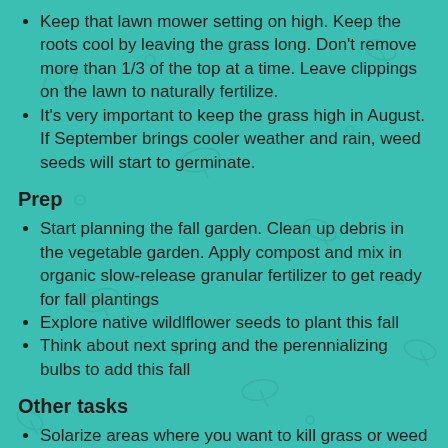Keep that lawn mower setting on high. Keep the roots cool by leaving the grass long. Don't remove more than 1/3 of the top at a time. Leave clippings on the lawn to naturally fertilize.
It's very important to keep the grass high in August. If September brings cooler weather and rain, weed seeds will start to germinate.
Prep
Start planning the fall garden. Clean up debris in the vegetable garden. Apply compost and mix in organic slow-release granular fertilizer to get ready for fall plantings
Explore native wildlflower seeds to plant this fall
Think about next spring and the perennializing bulbs to add this fall
Other tasks
Solarize areas where you want to kill grass or weed pests for future planting
Collect seeds from summer blooming plants. Clean off the chaff and let dry indoors. Store in jars, envelopes, or paper...